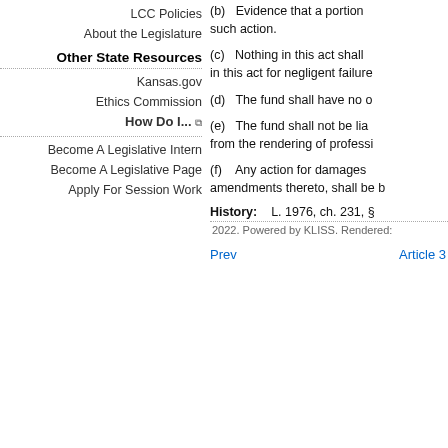LCC Policies
About the Legislature
Other State Resources
Kansas.gov
Ethics Commission
How Do I... ⧉
Become A Legislative Intern
Become A Legislative Page
Apply For Session Work
(b)   Evidence that a portion such action.
(c)   Nothing in this act shall in this act for negligent failure
(d)   The fund shall have no o
(e)   The fund shall not be lia from the rendering of professi
(f)   Any action for damages amendments thereto, shall be b
History:   L. 1976, ch. 231, §
Prev
Article 3
2022. Powered by KLISS. Rendered: